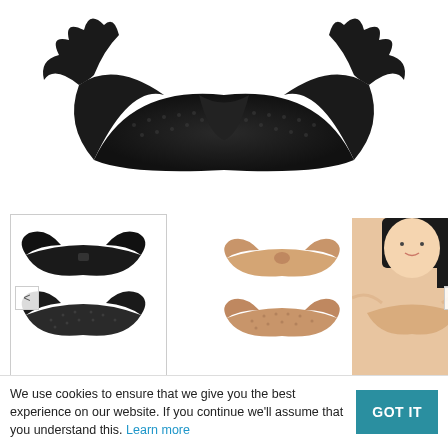[Figure (photo): Close-up product image of a black invisible wing bra showing the butterfly/wing shape and textured adhesive surface, against white background]
[Figure (photo): Thumbnail row showing: (1) black wing bra pair in box, (2) beige/nude wing bra pair, (3) model wearing the nude invisible wing bra]
Sexy Women Invisible Wing Bra
We use cookies to ensure that we give you the best experience on our website. If you continue we'll assume that you understand this. Learn more